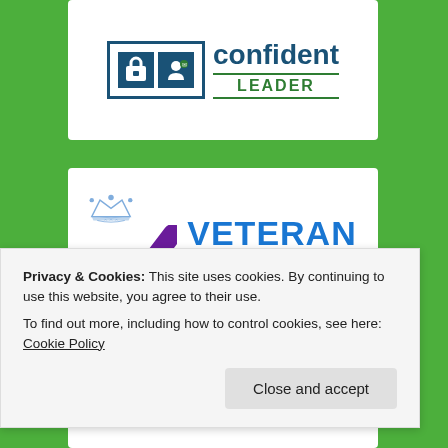[Figure (logo): Cyber Confident Leader badge - blue padlock and person icons with 'confident LEADER' text, partially visible at top]
[Figure (logo): Veteran Aware badge - purple checkmark with crown above and blue 'VETERAN AWARE' text]
[Figure (logo): Third badge partially visible at bottom of green background]
Privacy & Cookies: This site uses cookies. By continuing to use this website, you agree to their use.
To find out more, including how to control cookies, see here: Cookie Policy
Close and accept